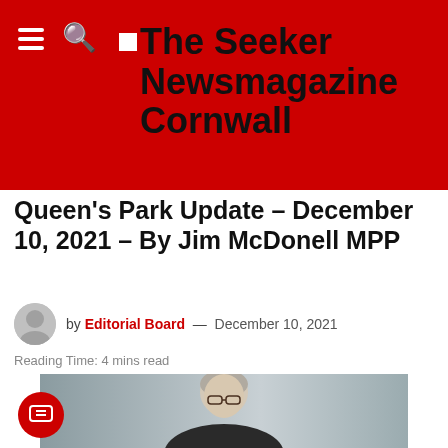The Seeker Newsmagazine Cornwall
Queen's Park Update – December 10, 2021 – By Jim McDonell MPP
by Editorial Board — December 10, 2021
Reading Time: 4 mins read
[Figure (photo): Portrait photo of Jim McDonell, a middle-aged white man with gray hair, wearing glasses and a dark suit, smiling against a gray background.]